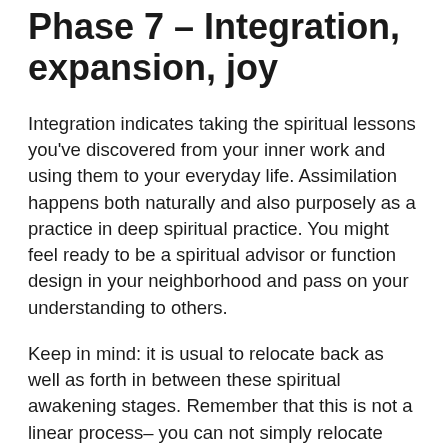Phase 7 – Integration, expansion, joy
Integration indicates taking the spiritual lessons you've discovered from your inner work and using them to your everyday life. Assimilation happens both naturally and also purposely as a practice in deep spiritual practice. You might feel ready to be a spiritual advisor or function design in your neighborhood and pass on your understanding to others.
Keep in mind: it is usual to relocate back as well as forth in between these spiritual awakening stages. Remember that this is not a linear process– you can not simply relocate from A to B to C.